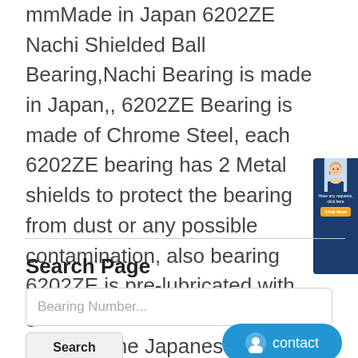mmMade in Japan 6202ZE Nachi Shielded Ball Bearing,Nachi Bearing is made in Japan,, 6202ZE Bearing is made of Chrome Steel, each 6202ZE bearing has 2 Metal shields to protect the bearing from dust or any possible contamination, also bearing 6202ZE is pre-lubricated with grease, NACHI 6202ZE bearing is one of the Japanese famous brand bearing .
[Figure (photo): Chat widget with photo of a woman wearing a headset, with a contact/chat button]
Search Page
Bearing Number...
Search
contact